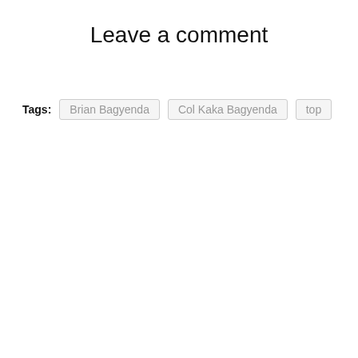Leave a comment
Tags: Brian Bagyenda  Col Kaka Bagyenda  top